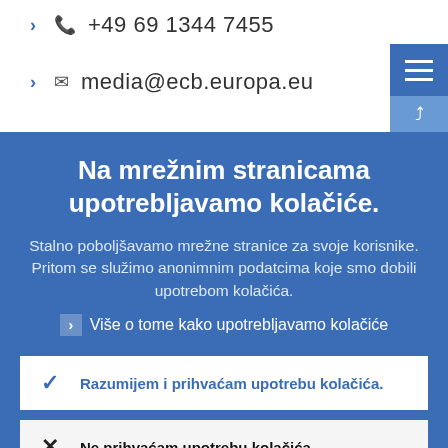+49 69 1344 7455
media@ecb.europa.eu
Na mrežnim stranicama upotrebljavamo kolačiće.
Stalno poboljšavamo mrežne stranice za svoje korisnike. Pritom se služimo anonimnim podatcima koje smo dobili upotrebom kolačića.
Više o tome kako upotrebljavamo kolačiće
Razumijem i prihvaćam upotrebu kolačića.
Ne prihvaćam upotrebu kolačića.